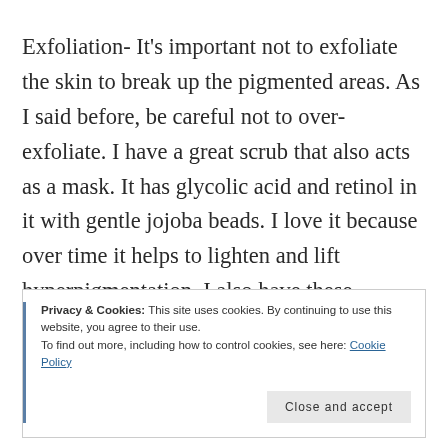Exfoliation- It's important not to exfoliate the skin to break up the pigmented areas. As I said before, be careful not to over-exfoliate. I have a great scrub that also acts as a mask. It has glycolic acid and retinol in it with gentle jojoba beads. I love it because over time it helps to lighten and lift hyperpigmentation. I also have these amazing glycolic/retinol pads that act as a toner so it's a leave-on. Perfect for hyperpigmentation. Book a
Privacy & Cookies: This site uses cookies. By continuing to use this website, you agree to their use. To find out more, including how to control cookies, see here: Cookie Policy
Close and accept